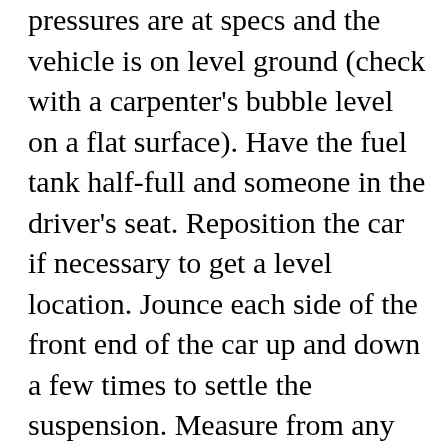pressures are at specs and the vehicle is on level ground (check with a carpenter's bubble level on a flat surface). Have the fuel tank half-full and someone in the driver's seat. Reposition the car if necessary to get a level location. Jounce each side of the front end of the car up and down a few times to settle the suspension. Measure from any convenient fixed point on each of the headlamps to the ground; the measurements should be within 1/2 in., indicating the suspension is not sagging excessively at either side. Then, locate the vertical adjuster and turn it to center the bubble.